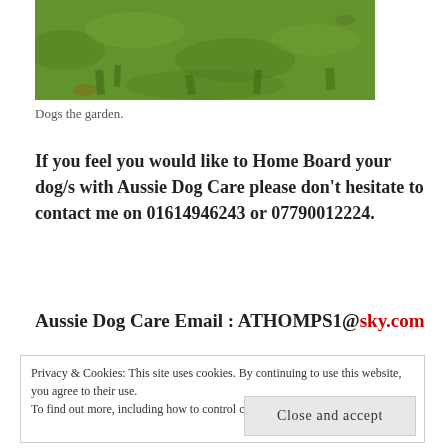[Figure (photo): Outdoor grass garden photo, green lawn, partial view of dogs in garden]
Dogs the garden.
If you feel you would like to Home Board your dog/s with Aussie Dog Care please don't hesitate to contact me on 01614946243 or 07790012224.
Aussie Dog Care Email : ATHOMPS1@sky.com
Privacy & Cookies: This site uses cookies. By continuing to use this website, you agree to their use.
To find out more, including how to control cookies, see here: Cookie Policy
Close and accept